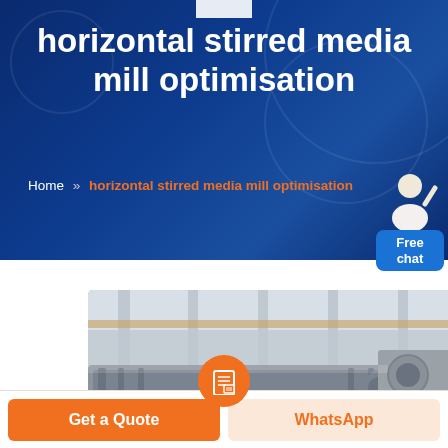horizontal stirred media mill optimisation
Home » horizontal stirred media mill optimisation
[Figure (photo): Industrial horizontal stirred media mill equipment photographed inside a large manufacturing factory/warehouse. Large grey metal machinery visible with industrial building structure in background.]
Get a Quote
WhatsApp